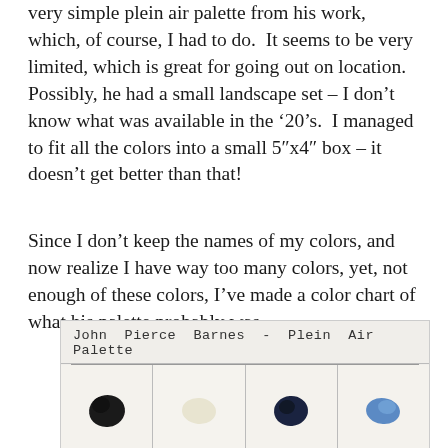very simple plein air palette from his work, which, of course, I had to do.  It seems to be very limited, which is great for going out on location. Possibly, he had a small landscape set – I don't know what was available in the '20's.  I managed to fit all the colors into a small 5"x4" box – it doesn't get better than that!
Since I don't keep the names of my colors, and now realize I have way too many colors, yet, not enough of these colors, I've made a color chart of what his palette probably was.
[Figure (photo): A handmade color chart labeled 'John Pierce Barnes - Plein Air Palette' showing four paint swatches: black, off-white/cream, dark navy blue, and medium blue, arranged in a grid with dividing lines.]